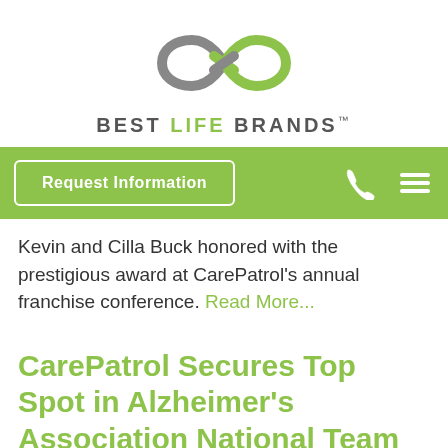[Figure (logo): Best Life Brands infinity loop logo in gray and green, with text BEST LIFE BRANDS below]
[Figure (screenshot): Green navigation bar with Request Information button, phone icon, and hamburger menu icon]
Kevin and Cilla Buck honored with the prestigious award at CarePatrol's annual franchise conference. Read More...
CarePatrol Secures Top Spot in Alzheimer's Association National Team Fundraiser
January 16, 2019